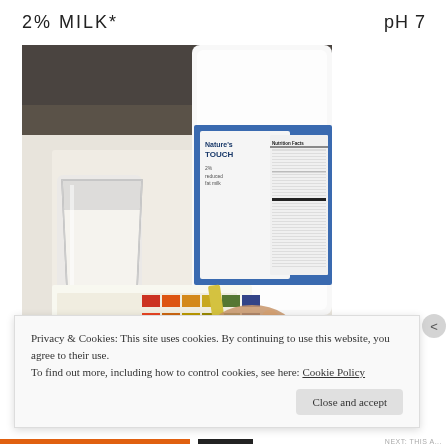2% MILK*
pH 7
[Figure (photo): Photo of a glass of milk next to a Nature's Touch 2% reduced fat milk jug, with a hand holding a pH test strip next to a pH color chart pad showing colored squares ranging from red/orange to green/purple.]
Privacy & Cookies: This site uses cookies. By continuing to use this website, you agree to their use.
To find out more, including how to control cookies, see here: Cookie Policy
Close and accept